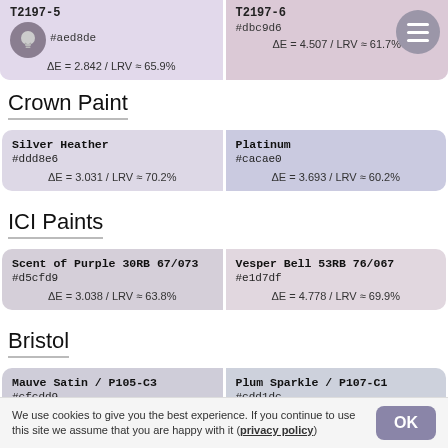T2197-5
#aed8de
ΔE = 2.842 / LRV ≈ 65.9%
T2197-6
#dbc9d6
ΔE = 4.507 / LRV ≈ 61.7%
Crown Paint
Silver Heather
#ddd8e6
ΔE = 3.031 / LRV ≈ 70.2%
Platinum
#cacae0
ΔE = 3.693 / LRV ≈ 60.2%
ICI Paints
Scent of Purple 30RB 67/073
#d5cfd9
ΔE = 3.038 / LRV ≈ 63.8%
Vesper Bell 53RB 76/067
#e1d7df
ΔE = 4.778 / LRV ≈ 69.9%
Bristol
Mauve Satin / P105-C3
#cfcdd9
ΔE = 3.060 / LRV ≈ 61.9%
Plum Sparkle / P107-C1
#cdd1dc
ΔE = 4.306 / LRV ≈ 63.7%
We use cookies to give you the best experience. If you continue to use this site we assume that you are happy with it (privacy policy)